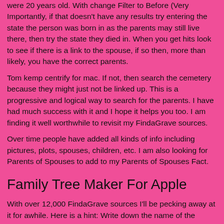were 20 years old. With change Filter to Before (Very Importantly, if that doesn't have any results try entering the state the person was born in as the parents may still live there, then try the state they died in. When you get hits look to see if there is a link to the spouse, if so then, more than likely, you have the correct parents.
Tom kemp centrify for mac. If not, then search the cemetery because they might just not be linked up. This is a progressive and logical way to search for the parents. I have had much success with it and I hope it helps you too. I am finding it well worthwhile to revisit my FindaGrave sources.
Over time people have added all kinds of info including pictures, plots, spouses, children, etc. I am also looking for Parents of Spouses to add to my Parents of Spouses Fact.
Family Tree Maker For Apple
With over 12,000 FindaGrave sources I'll be pecking away at it for awhile. Here is a hint: Write down the name of the person you star...